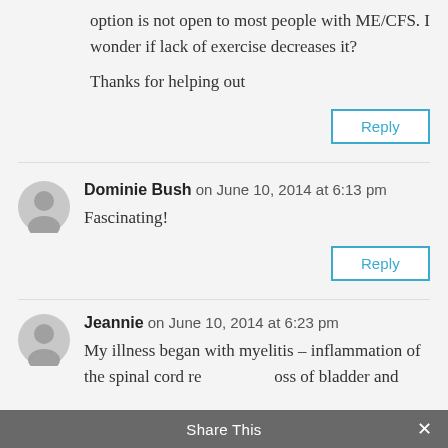option is not open to most people with ME/CFS. I wonder if lack of exercise decreases it?
Thanks for helping out
Reply
Dominie Bush on June 10, 2014 at 6:13 pm
Fascinating!
Reply
Jeannie on June 10, 2014 at 6:23 pm
My illness began with myelitis – inflammation of the spinal cord resulting in loss of bladder and
Share This